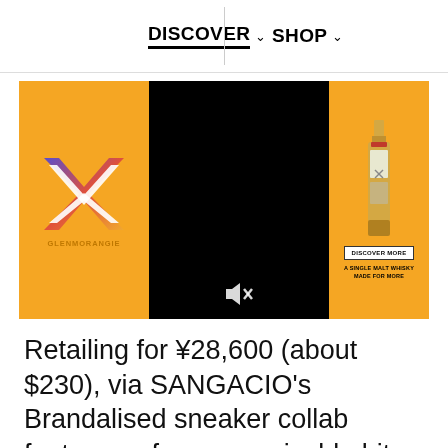DISCOVER   SHOP
[Figure (photo): Glenmorangie advertisement banner with orange background, an X logo on the left, a black video panel in the center with a speaker/mute icon, and a whisky bottle on the right with a Discover More button and tagline 'A SINGLE MALT WHISKY MADE FOR MORE']
Retailing for ¥28,600 (about $230), via SANGACIO's Brandalised sneaker collab features a few recognizable bits of Banksy iconography, like monkey and rat prints.